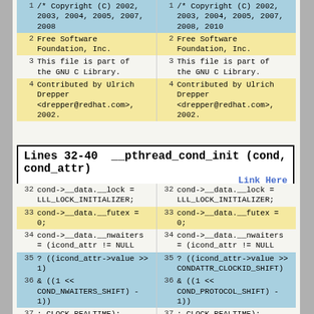| line | left code | line | right code |
| --- | --- | --- | --- |
| 1 | /* Copyright (C) 2002, 2003, 2004, 2005, 2007, 2008 | 1 | /* Copyright (C) 2002, 2003, 2004, 2005, 2007, 2008, 2010 |
| 2 | Free Software Foundation, Inc. | 2 | Free Software Foundation, Inc. |
| 3 | This file is part of the GNU C Library. | 3 | This file is part of the GNU C Library. |
| 4 | Contributed by Ulrich Drepper <drepper@redhat.com>, 2002. | 4 | Contributed by Ulrich Drepper <drepper@redhat.com>, 2002. |
Lines 32-40  __pthread_cond_init (cond, cond_attr)
Link Here
| line | left code | line | right code |
| --- | --- | --- | --- |
| 32 | cond->__data.__lock = LLL_LOCK_INITIALIZER; | 32 | cond->__data.__lock = LLL_LOCK_INITIALIZER; |
| 33 | cond->__data.__futex = 0; | 33 | cond->__data.__futex = 0; |
| 34 | cond->__data.__nwaiters = (icond_attr != NULL | 34 | cond->__data.__nwaiters = (icond_attr != NULL |
| 35 | ? ((icond_attr->value >> 1) | 35 | ? ((icond_attr->value >> CONDATTR_CLOCKID_SHIFT) |
| 36 | & ((1 << COND_NWAITERS_SHIFT) - 1)) | 36 | & ((1 << COND_PROTOCOL_SHIFT) - 1)) |
| 37 | : CLOCK_REALTIME); | 37 | : CLOCK_REALTIME); |